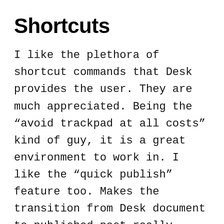Shortcuts
I like the plethora of shortcut commands that Desk provides the user. They are much appreciated. Being the “avoid trackpad at all costs” kind of guy, it is a great environment to work in. I like the “quick publish” feature too. Makes the transition from Desk document to published post really simple.